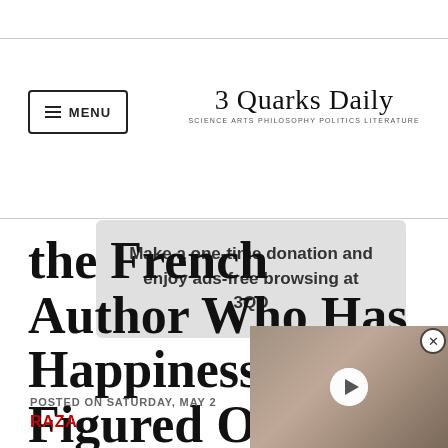3 Quarks Daily — SCIENCE ARTS PHILOSOPHY POLITICS LITERATURE
Make a one-time donation and enjoy ads-free browsing at 3QD
the French Author Who Has Happiness Figured Out
POSTED ON SATURDAY, MAY 2
RAZA
[Figure (screenshot): Video thumbnail showing a creature, with play button overlay and close button]